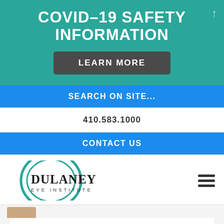COVID-19 SAFETY INFORMATION
LEARN MORE
SEARCH ON SITE...
410.583.1000
CONTACT US
[Figure (logo): Dulaney Eye Institute logo with teal circular arc and serif text]
Donna Booth, M.D., F.A.C.S.
Read More